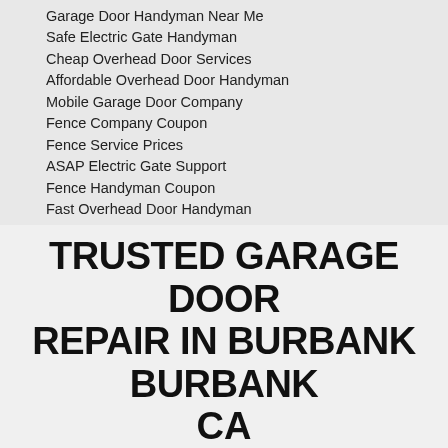Garage Door Handyman Near Me
Safe Electric Gate Handyman
Cheap Overhead Door Services
Affordable Overhead Door Handyman
Mobile Garage Door Company
Fence Company Coupon
Fence Service Prices
ASAP Electric Gate Support
Fence Handyman Coupon
Fast Overhead Door Handyman
Electric Gate Constructor Coupons
Mobile Garage Door Handyman
Safe Garage Door Support
Local Fence Support
Quick Electric Gate Service
Fast Electric Gate Support
Fence Support Coupons
Overhead Door Support Near Me
Overhead Door Service Near Me
TRUSTED GARAGE DOOR REPAIR IN BURBANK BURBANK CA